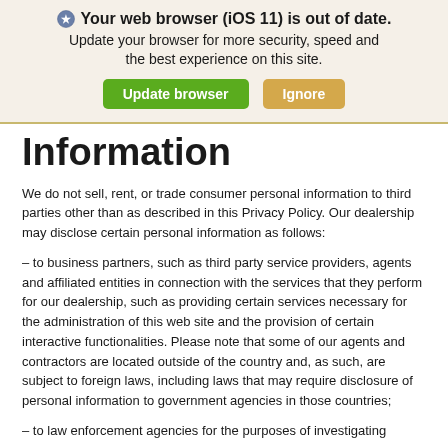[Figure (screenshot): Browser update banner with shield icon, bold text 'Your web browser (iOS 11) is out of date.', subtitle 'Update your browser for more security, speed and the best experience on this site.', and two buttons: green 'Update browser' and tan 'Ignore']
Information
We do not sell, rent, or trade consumer personal information to third parties other than as described in this Privacy Policy. Our dealership may disclose certain personal information as follows:
– to business partners, such as third party service providers, agents and affiliated entities in connection with the services that they perform for our dealership, such as providing certain services necessary for the administration of this web site and the provision of certain interactive functionalities. Please note that some of our agents and contractors are located outside of the country and, as such, are subject to foreign laws, including laws that may require disclosure of personal information to government agencies in those countries;
– to law enforcement agencies for the purposes of investigating...